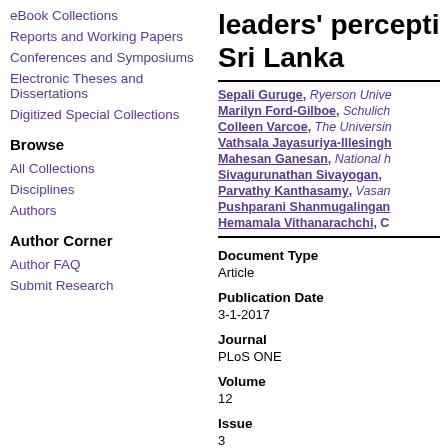eBook Collections
Reports and Working Papers
Conferences and Symposiums
Electronic Theses and Dissertations
Digitized Special Collections
Browse
All Collections
Disciplines
Authors
Author Corner
Author FAQ
Submit Research
leaders' perception Sri Lanka
Sepali Guruge, Ryerson Unive...
Marilyn Ford-Gilboe, Schulich...
Colleen Varcoe, The Universin...
Vathsala Jayasuriya-Illesingh...
Mahesan Ganesan, National h...
Sivagurunathan Sivayogan,...
Parvathy Kanthasamy, Vasan...
Pushparani Shanmugalingan...
Hemamala Vithanarachchi, C...
Document Type
Article
Publication Date
3-1-2017
Journal
PLoS ONE
Volume
12
Issue
3